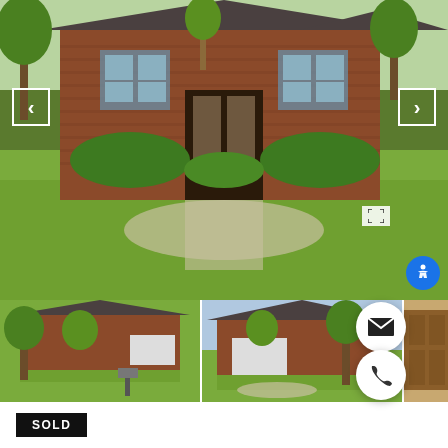[Figure (photo): Front exterior of a brick single-story home with large green lawn, arched windows, double glass front door, trees and shrubs. Navigation arrows on left and right. Accessibility icon bottom right.]
[Figure (photo): Thumbnail 1: Exterior of brick ranch-style home with white garage door and green lawn]
[Figure (photo): Thumbnail 2: Similar brick home exterior with trees and driveway]
[Figure (photo): Thumbnail 3: Partial view of home interior or entry, showing wooden door]
SOLD